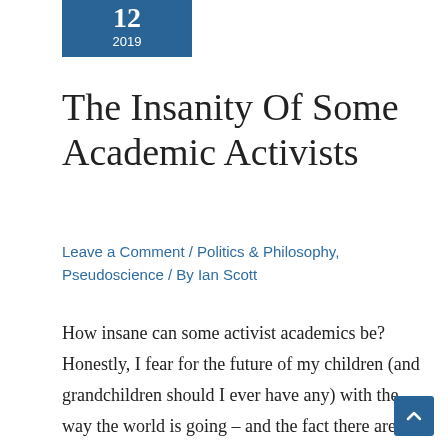12 2019
The Insanity Of Some Academic Activists
Leave a Comment / Politics & Philosophy, Pseudoscience / By Ian Scott
How insane can some activist academics be? Honestly, I fear for the future of my children (and grandchildren should I ever have any) with the way the world is going – and the fact there are so many so-called “educated” people who obviously have little education in reality. Today we see this more and more ...